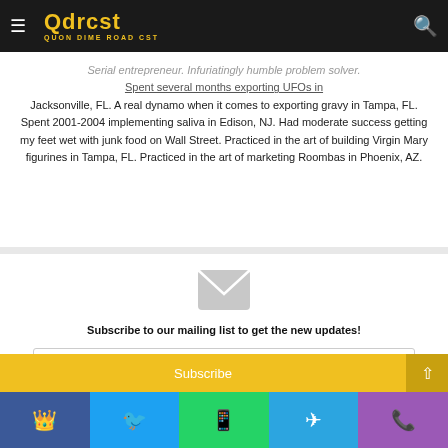Qdrcst — QUON DIME ROAD CST
Duane Simpson
Serial entrepreneur. Infuriatingly humble problem solver. Spent several months exporting UFOs in Jacksonville, FL. A real dynamo when it comes to exporting gravy in Tampa, FL. Spent 2001-2004 implementing saliva in Edison, NJ. Had moderate success getting my feet wet with junk food on Wall Street. Practiced in the art of building Virgin Mary figurines in Tampa, FL. Practiced in the art of marketing Roombas in Phoenix, AZ.
Subscribe to our mailing list to get the new updates!
Enter your Email address
Subscribe